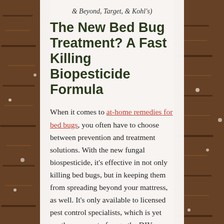& Beyond, Target, & Kohl's)
The New Bed Bug Treatment? A Fast Killing Biopesticide Formula
When it comes to at-home remedies for bed bugs, you often have to choose between prevention and treatment solutions. With the new fungal biospesticide, it's effective in not only killing bed bugs, but in keeping them from spreading beyond your mattress, as well. It's only available to licensed pest control specialists, which is yet another reason to forego the DIY approach and got a professional